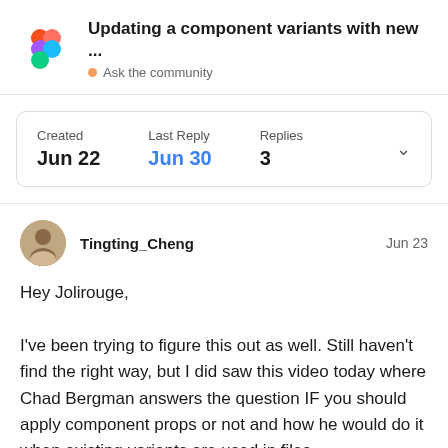Updating a component variants with new ... Ask the community
| Created | Last Reply | Replies |
| --- | --- | --- |
| Jun 22 | Jun 30 | 3 |
Tingting_Cheng  Jun 23
Hey Jolirouge,

I've been trying to figure this out as well. Still haven't find the right way, but I did saw this video today where Chad Bergman answers the question IF you should apply component props or not and how he would do it when existing variants are used in files.